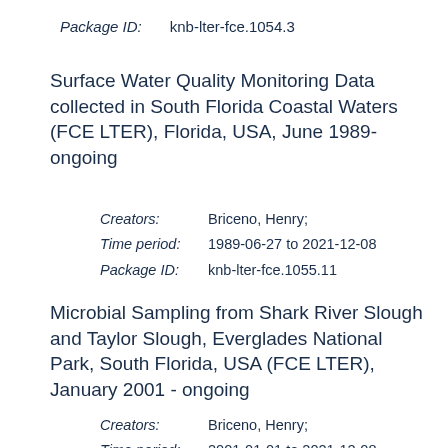Package ID:    knb-lter-fce.1054.3
Surface Water Quality Monitoring Data collected in South Florida Coastal Waters (FCE LTER), Florida, USA, June 1989-ongoing
Creators:    Briceno, Henry;
Time period:    1989-06-27 to 2021-12-08
Package ID:    knb-lter-fce.1055.11
Microbial Sampling from Shark River Slough and Taylor Slough, Everglades National Park, South Florida, USA (FCE LTER), January 2001 - ongoing
Creators:    Briceno, Henry;
Time period:    2001-01-01 to 2021-12-08